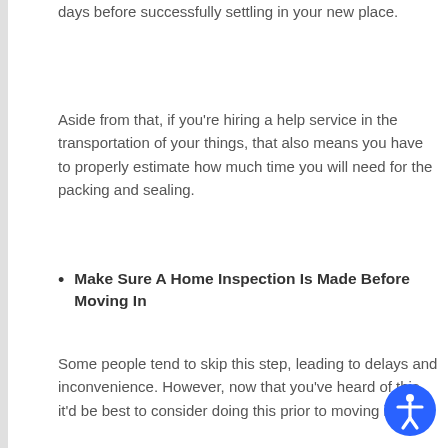days before successfully settling in your new place.
Aside from that, if you're hiring a help service in the transportation of your things, that also means you have to properly estimate how much time you will need for the packing and sealing.
Make Sure A Home Inspection Is Made Before Moving In
Some people tend to skip this step, leading to delays and inconvenience. However, now that you've heard of this, it'd be best to consider doing this prior to moving in.